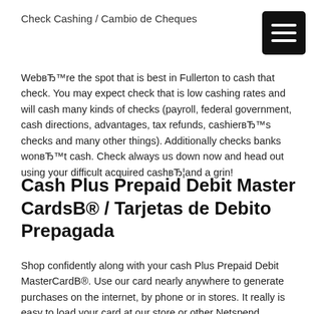Check Cashing / Cambio de Cheques
WebвЂ™re the spot that is best in Fullerton to cash that check. You may expect check that is low cashing rates and will cash many kinds of checks (payroll, federal government, cash directions, advantages, tax refunds, cashierвЂ™s checks and many other things). Additionally checks banks wonвЂ™t cash. Check always us down now and head out using your difficult acquired cashвЂ¦and a grin!
Cash Plus Prepaid Debit Master CardsB® / Tarjetas de Debito Prepagada
Shop confidently along with your cash Plus Prepaid Debit MasterCardB®. Use our card nearly anywhere to generate purchases on the internet, by phone or in stores. It really is easy to load your card at our store or other Netspend merchant. And, you can use it any ATM to withdraw money.